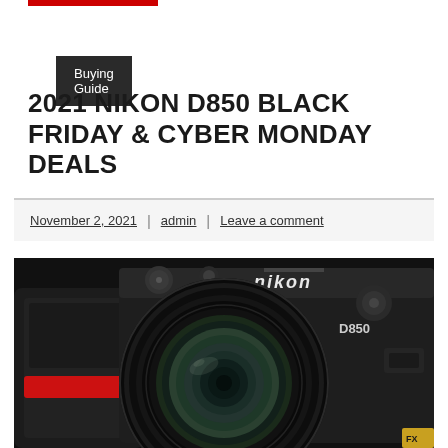Buying Guide
2021 NIKON D850 BLACK FRIDAY & CYBER MONDAY DEALS
November 2, 2021 | admin | Leave a comment
[Figure (photo): Close-up front view of Nikon D850 DSLR camera with large lens, showing the Nikon logo on top, D850 label on body, red accent grip detail, and gold/green lens elements visible through the lens glass.]